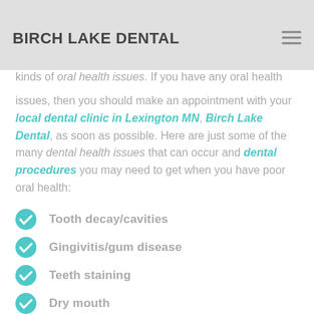BIRCH LAKE DENTAL
kinds of oral health issues. If you have any oral health issues, then you should make an appointment with your local dental clinic in Lexington MN, Birch Lake Dental, as soon as possible. Here are just some of the many dental health issues that can occur and dental procedures you may need to get when you have poor oral health:
Tooth decay/cavities
Gingivitis/gum disease
Teeth staining
Dry mouth
Tartar/plaque buildup
TMJ/TMD